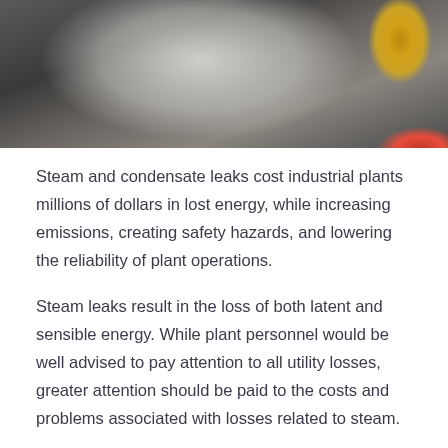[Figure (photo): Industrial steam pipe fitting with a brass valve connector and red handle, surrounded by steam/smoke on a dark metal background]
Steam and condensate leaks cost industrial plants millions of dollars in lost energy, while increasing emissions, creating safety hazards, and lowering the reliability of plant operations.
Steam leaks result in the loss of both latent and sensible energy. While plant personnel would be well advised to pay attention to all utility losses, greater attention should be paid to the costs and problems associated with losses related to steam.